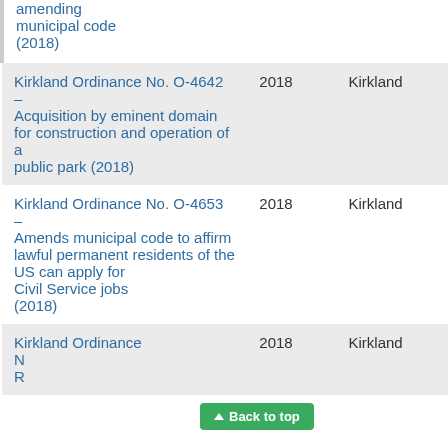|  | Year | Jurisdiction |
| --- | --- | --- |
| amending municipal code (2018) |  |  |
| Kirkland Ordinance No. O-4642 – Acquisition by eminent domain for construction and operation of a public park (2018) | 2018 | Kirkland |
| Kirkland Ordinance No. O-4653 – Amends municipal code to affirm lawful permanent residents of the US can apply for Civil Service jobs (2018) | 2018 | Kirkland |
| Kirkland Ordinance N... R... | 2018 | Kirkland |